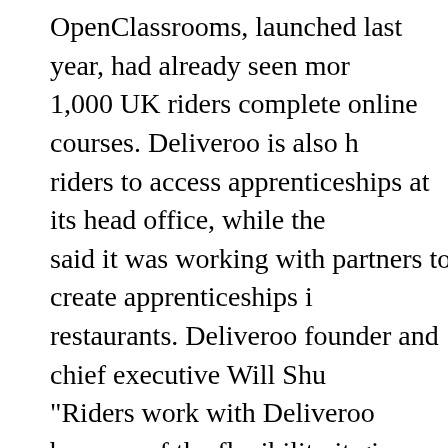OpenClassrooms, launched last year, had already seen more than 1,000 UK riders complete online courses. Deliveroo is also helping riders to access apprenticeships at its head office, while the company said it was working with partners to create apprenticeships in restaurants. Deliveroo founder and chief executive Will Shu said: “Riders work with Deliveroo because of the flexibility it gives them to work around their lives. We know lots of riders want to create their own startup and it’s exciting to be able to help them along their jo…
Three Michelin-starred chef Quique Dacosta to open first restaurant outside Spain, in Fitzrovia next month: Three Michelin-starred chef Quique Dacosta is to open his first site outside Spain – in Fitzrovia, central London. Arros QD will launch in Eastcastle Street on 1 June with an entire section of the menu devoted to rice dishes designed to share. His homage to the traditional paella enjoyed around Valencia includes rabbit chop, chicken and butter beans cooked over a wood fire. The 140-cover restaurant will be se…